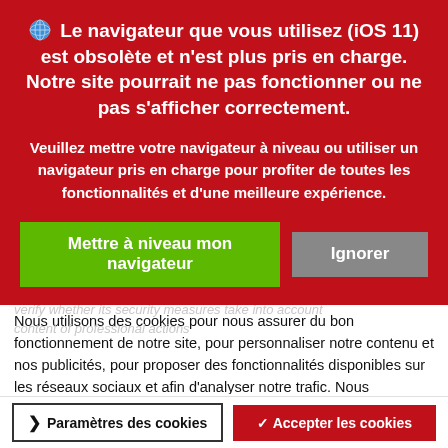[Figure (screenshot): Red browser compatibility warning banner overlay on a webpage. Shows globe icon followed by bold white text warning about iOS 11 browser being obsolete. Contains two buttons: green 'Mettre à niveau mon navigateur' and grey 'Ignorer'. Below the banner is a white cookie consent section with French text about cookie usage, and at the bottom a cookie bar with 'Paramètres des cookies' and 'Accepter les cookies' buttons.]
Le navigateur que vous utilisez (iOS 11) est obsolète et n'est plus pris en charge. Notre site pourrait ne pas fonctionner ou ne pas s'afficher correctement.
Veuillez mettre votre navigateur à niveau ou utiliser un navigateur pris en charge pour profiter de toutes les fonctionnalités et d'une meilleure expérience.
Nous utilisons des cookies pour nous assurer du bon fonctionnement de notre site, pour personnaliser notre contenu et nos publicités, pour proposer des fonctionnalités disponibles sur les réseaux sociaux et afin d'analyser notre trafic. Nous partageons également des informations, quant à votre navigation sur notre site, avec nos partenaires analytiques, publicitaires et de réseaux sociaux.